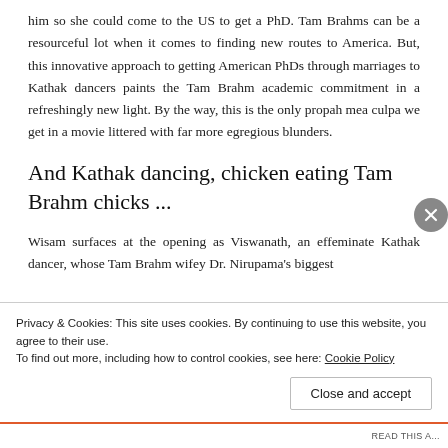him so she could come to the US to get a PhD. Tam Brahms can be a resourceful lot when it comes to finding new routes to America. But, this innovative approach to getting American PhDs through marriages to Kathak dancers paints the Tam Brahm academic commitment in a refreshingly new light. By the way, this is the only propah mea culpa we get in a movie littered with far more egregious blunders.
And Kathak dancing, chicken eating Tam Brahm chicks ...
Wisam surfaces at the opening as Viswanath, an effeminate Kathak dancer, whose Tam Brahm wifey Dr. Nirupama's biggest
Privacy & Cookies: This site uses cookies. By continuing to use this website, you agree to their use.
To find out more, including how to control cookies, see here: Cookie Policy
Close and accept